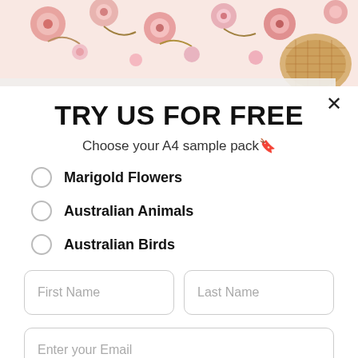[Figure (photo): Top banner image showing floral wallpaper with pink/marigold flowers and a rattan chair]
TRY US FOR FREE
Choose your A4 sample pack🔖
Marigold Flowers
Australian Animals
Australian Birds
First Name
Last Name
Enter your Email